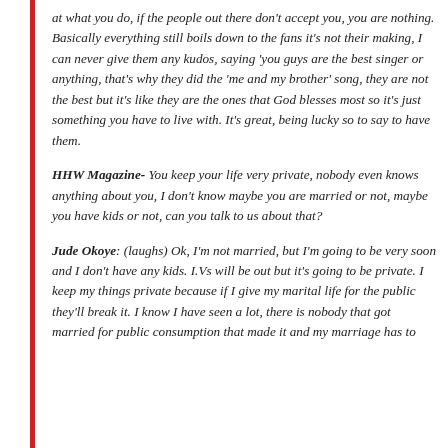at what you do, if the people out there don't accept you, you are nothing. Basically everything still boils down to the fans it's not their making, I can never give them any kudos, saying 'you guys are the best singer or anything, that's why they did the 'me and my brother' song, they are not the best but it's like they are the ones that God blesses most so it's just something you have to live with. It's great, being lucky so to say to have them.
HHW Magazine- You keep your life very private, nobody even knows anything about you, I don't know maybe you are married or not, maybe you have kids or not, can you talk to us about that?
Jude Okoye: (laughs) Ok, I'm not married, but I'm going to be very soon and I don't have any kids. I.Vs will be out but it's going to be private. I keep my things private because if I give my marital life for the public they'll break it. I know I have seen a lot, there is nobody that got married for public consumption that made it and my marriage has to